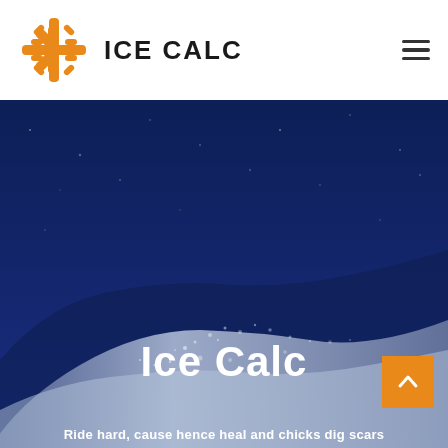ICE CALC
[Figure (photo): Hero section of Ice Calc website with dark navy blue background and snow/mountain imagery. Large white bold title 'Ice Calc' overlaid on the image with partial subtitle text visible at bottom.]
Ice Calc
Ride hard, cause hence heal and chicks dig scars